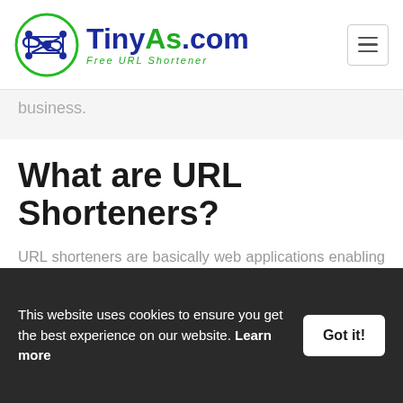[Figure (logo): TinyAs.com Free URL Shortener logo with circular icon and text]
business.
What are URL Shorteners?
URL shorteners are basically web applications enabling you to shrink your long and ugly looking URLs into fewer characters (learn how to navigate through the TinyAs URL Shortener dashboard). Short links not only look better in emails, marketing
This website uses cookies to ensure you get the best experience on our website. Learn more